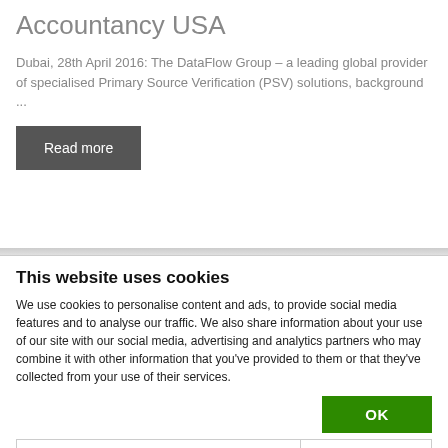Accountancy USA
Dubai, 28th April 2016: The DataFlow Group – a leading global provider of specialised Primary Source Verification (PSV) solutions, background ...
Read more
This website uses cookies
We use cookies to personalise content and ads, to provide social media features and to analyse our traffic. We also share information about your use of our site with our social media, advertising and analytics partners who may combine it with other information that you've provided to them or that they've collected from your use of their services.
OK
Necessary  Preferences  Statistics  Marketing  Show details